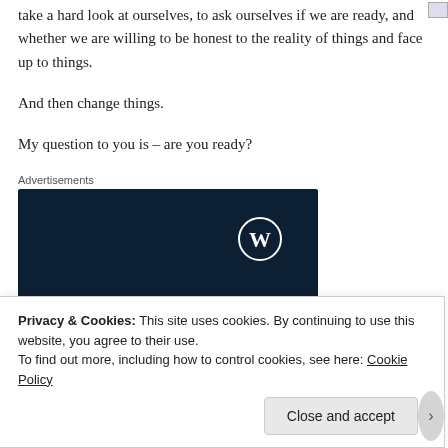take a hard look at ourselves, to ask ourselves if we are ready, and whether we are willing to be honest to the reality of things and face up to things.
And then change things.
My question to you is – are you ready?
Advertisements
[Figure (illustration): WordPress.com advertisement banner with dark navy background. Shows WordPress logo (W in circle) at top right. Text reads: 'Opinions. We all have them!']
Privacy & Cookies: This site uses cookies. By continuing to use this website, you agree to their use.
To find out more, including how to control cookies, see here: Cookie Policy
Close and accept